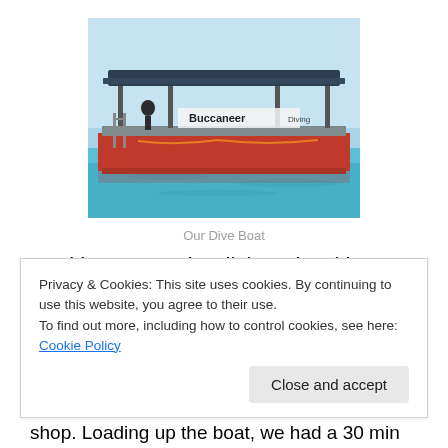[Figure (photo): A red dive boat named 'Buccaneer Diving' floating on turquoise water, with a blue canopy/shade structure on top and a ladder on the side.]
Our Dive Boat
Booking our scuba diving trip with Buccaneer Diving, we had to be at the shop early in the morning. Since breakfast
Privacy & Cookies: This site uses cookies. By continuing to use this website, you agree to their use.
To find out more, including how to control cookies, see here: Cookie Policy
Close and accept
shop. Loading up the boat, we had a 30 min drive to the